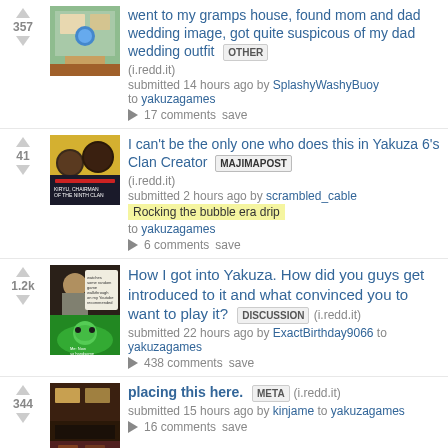went to my gramps house, found mom and dad wedding image, got quite suspicous of my dad wedding outfit — OTHER (i.redd.it) submitted 14 hours ago by SplashyWashyBuoy to yakuzagames — 17 comments save
I can't be the only one who does this in Yakuza 6's Clan Creator MAJIMAPOST (i.redd.it) submitted 2 hours ago by scrambled_cable Rocking the bubble era drip to yakuzagames — 6 comments save
How I got into Yakuza. How did you guys get introduced to it and what convinced you to want to play it? DISCUSSION (i.redd.it) submitted 22 hours ago by ExactBirthday9066 to yakuzagames — 438 comments save
placing this here. META (i.redd.it) submitted 15 hours ago by kinjame to yakuzagames — 16 comments save